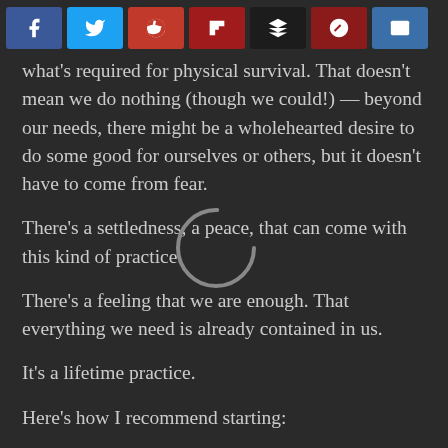[Social share buttons: Facebook, Twitter, Reddit, Flipboard, Buffer, Feedly, Email]
what's required for physical survival. That doesn't mean we do nothing (though we could!) — beyond our needs, there might be a wholehearted desire to do some good for ourselves or others, but it doesn't have to come from fear.
There's a settledness, a peace, that can come with this kind of practice.
There's a feeling that we are enough. That everything we need is already contained in us.
It's a lifetime practice.
Here's how I recommend starting:
1. Sit in a quiet spot. Elevate your hips above your knees